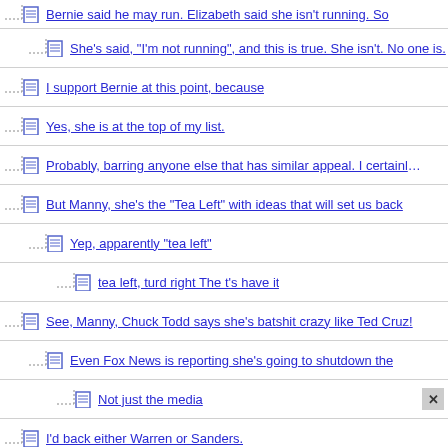Bernie said he may run. Elizabeth said she isn't running. So
She's said, "I'm not running", and this is true. She isn't. No one is.
I support Bernie at this point, because
Yes, she is at the top of my list.
Probably, barring anyone else that has similar appeal. I certainly am
But Manny, she's the "Tea Left" with ideas that will set us back
Yep, apparently "tea left"
tea left, turd right The t's have it
See, Manny, Chuck Todd says she's batshit crazy like Ted Cruz!
Even Fox News is reporting she's going to shutdown the
Not just the media
I'd back either Warren or Sanders.
Senator Bernie Sanders would be my first choice. nt
Absolutely.
Elizabeth or Bernie
Yes.
I'm provisionally holding out for Sanders (provided he, of course,
No. i am backing Hillary.
I would vote for her in a heartbeat.
I'm not jumping on any bandwagons yet
She'd be on the top of my list, but still...